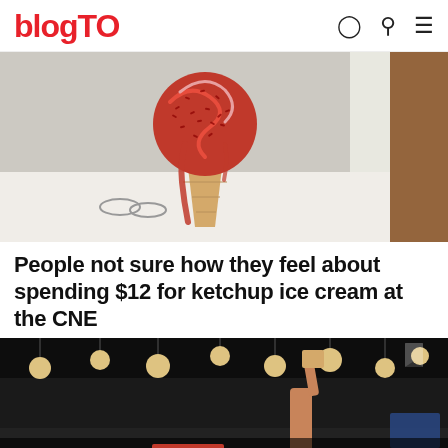blogTO
[Figure (photo): Close-up photo of a ketchup-themed ice cream cone covered in red sprinkles and red sauce drizzle, placed on a white surface with blurred background]
People not sure how they feel about spending $12 for ketchup ice cream at the CNE
[Figure (photo): Dark interior photo of a venue/bar with round pendant lights on the ceiling and a person raising their hand holding a card. VoxBox branding overlay at the bottom with text: C'MON DOWN & SPEAK YOUR MIND / VoxBox / SING BOX RANT CONFESS APOLOGIZE SELL or just tell us a good joke!]